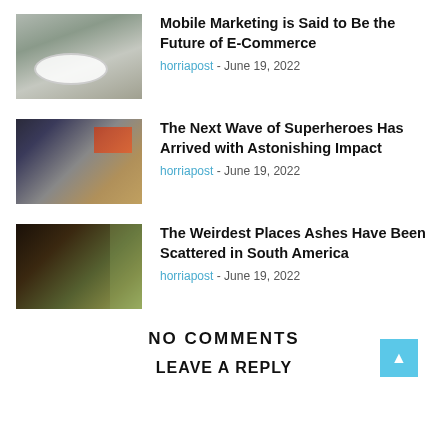[Figure (photo): Bathroom with freestanding white bathtub]
Mobile Marketing is Said to Be the Future of E-Commerce
horriapost - June 19, 2022
[Figure (photo): Bedroom with orange decorative pillows and orange bench]
The Next Wave of Superheroes Has Arrived with Astonishing Impact
horriapost - June 19, 2022
[Figure (photo): Dark interior with view to lush outdoor garden]
The Weirdest Places Ashes Have Been Scattered in South America
horriapost - June 19, 2022
NO COMMENTS
LEAVE A REPLY